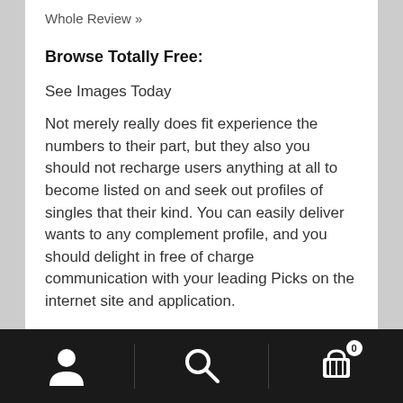Whole Review »
Browse Totally Free:
See Images Today
Not merely really does fit experience the numbers to their part, but they also you should not recharge users anything at all to become listed on and seek out profiles of singles that their kind. You can easily deliver wants to any complement profile, and you should delight in free of charge communication with your leading Picks on the internet site and application.
Navigation bar with user, search, and cart icons